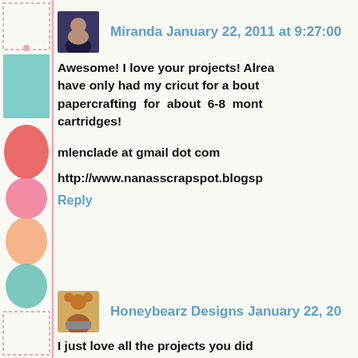[Figure (illustration): Decorative left sidebar with geometric shapes including teal triangle, colorful petal/floral shapes in pink, coral, and other colors, with pink border]
Miranda January 22, 2011 at 9:27:00
Awesome! I love your projects! Already have only had my cricut for a bout papercrafting for about 6-8 mont cartridges!
mlenclade at gmail dot com
http://www.nanasscrapspot.blogsp
Reply
Honeybearz Designs January 22, 20
I just love all the projects you did